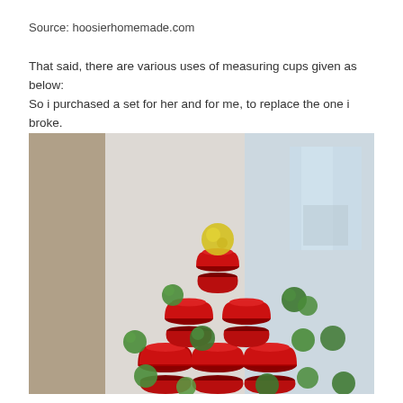Source: hoosierhomemade.com
That said, there are various uses of measuring cups given as below: So i purchased a set for her and for me, to replace the one i broke.
[Figure (photo): A pyramid of red Solo cups stacked in a Christmas tree formation, decorated with green pom-poms and topped with a yellow pom-pom, photographed against a blurry indoor background.]